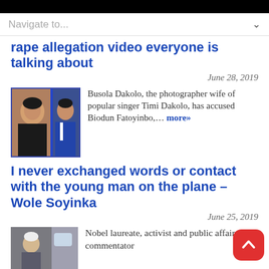Navigate to...
rape allegation video everyone is talking about
June 28, 2019
Busola Dakolo, the photographer wife of popular singer Timi Dakolo, has accused Biodun Fatoyinbo,… more»
[Figure (photo): Photo collage of a woman in black attire and a man in a suit]
I never exchanged words or contact with the young man on the plane – Wole Soyinka
June 25, 2019
Nobel laureate, activist and public affairs commentator
[Figure (photo): Photo of an elderly person inside a plane]